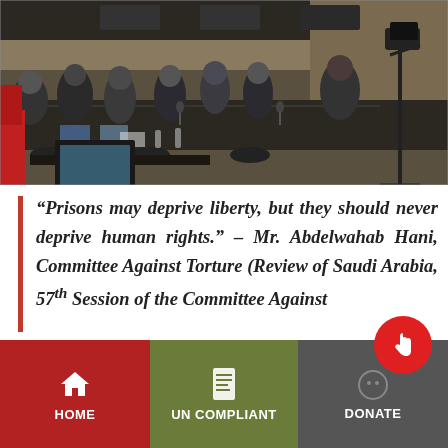[Figure (photo): A wide-angle photo of a formal conference or committee meeting room, showing many people seated around a large table with laptops, papers, and microphones. The setting appears to be a UN-style international meeting room with wood paneling and overhead lighting. Camera equipment is visible on the right side.]
“Prisons may deprive liberty, but they should never deprive human rights.” – Mr. Abdelwahab Hani, Committee Against Torture (Review of Saudi Arabia, 57th Session of the Committee Against
HOME | UN COMPLIANT | DONATE